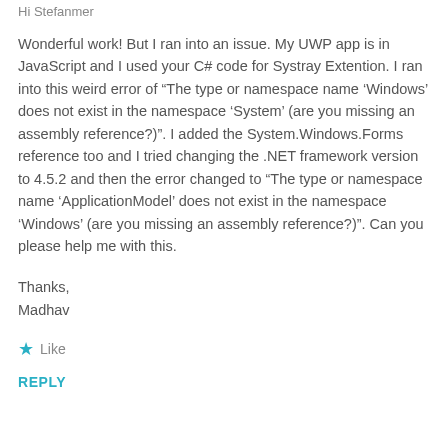Hi Stefanmer
Wonderful work! But I ran into an issue. My UWP app is in JavaScript and I used your C# code for Systray Extention. I ran into this weird error of “The type or namespace name ‘Windows’ does not exist in the namespace ‘System’ (are you missing an assembly reference?)”. I added the System.Windows.Forms reference too and I tried changing the .NET framework version to 4.5.2 and then the error changed to “The type or namespace name ‘ApplicationModel’ does not exist in the namespace ‘Windows’ (are you missing an assembly reference?)”. Can you please help me with this.
Thanks,
Madhav
Like
REPLY